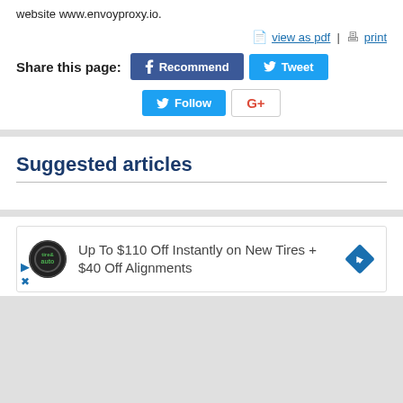website www.envoyproxy.io.
view as pdf | print
Share this page:
Recommended Tweet Follow G+
Suggested articles
[Figure (infographic): Advertisement: Up To $110 Off Instantly on New Tires + $40 Off Alignments, with Tire Auto logo and blue diamond arrow icon]